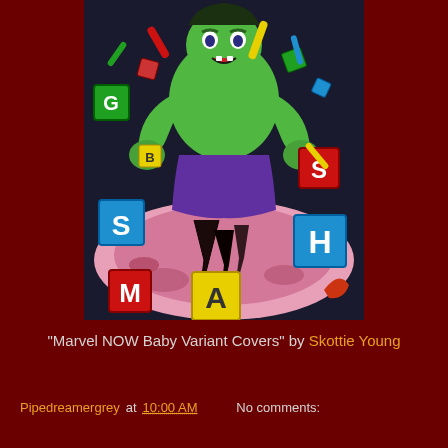[Figure (illustration): Comic book illustration of Baby Hulk smashing alphabet letter blocks spelling SMASH, with colorful building blocks flying through the air against a pink cracked ground background. The green baby figure is at the top center.]
"Marvel NOW Baby Variant Covers" by Skottie Young
Pipedreamergrey at 10:00 AM     No comments: